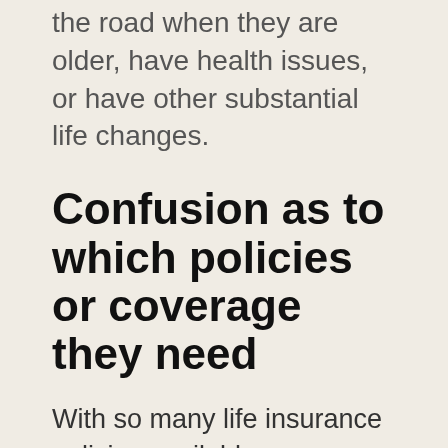the road when they are older, have health issues, or have other substantial life changes.
Confusion as to which policies or coverage they need
With so many life insurance policies available, many people are unsure what their best policy options are and what coverage they need. One way to overcome this is to offer an evaluation session that goes over their income, expenses and debts, and family needs. Provide them with information